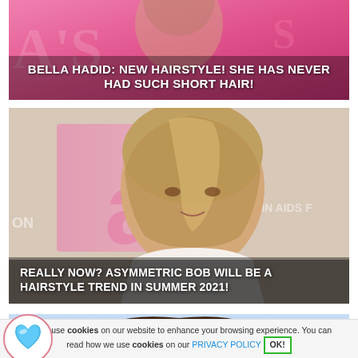[Figure (photo): Article thumbnail: Bella Hadid new hairstyle headline over pink/magenta background with overlapping photos]
BELLA HADID: NEW HAIRSTYLE! SHE HAS NEVER HAD SUCH SHORT HAIR!
[Figure (photo): Woman with asymmetric bob hairstyle at an event, white dress, pink background with text overlay]
REALLY NOW? ASYMMETRIC BOB WILL BE A HAIRSTYLE TREND IN SUMMER 2021!
[Figure (photo): Woman with long wavy dark hair seen from behind near the sea/beach]
⚠ We use cookies on our website to enhance your browsing experience. You can read how we use cookies on our PRIVACY POLICY OK!